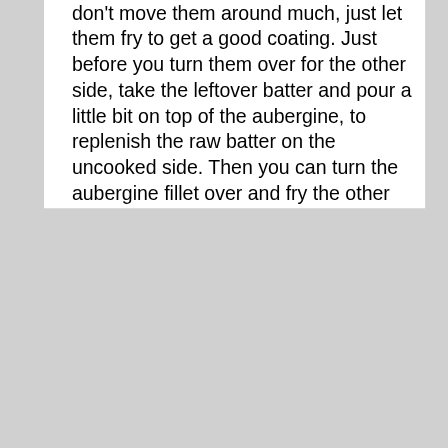don't move them around much, just let them fry to get a good coating. Just before you turn them over for the other side, take the leftover batter and pour a little bit on top of the aubergine, to replenish the raw batter on the uncooked side. Then you can turn the aubergine fillet over and fry the other side for 5 minutes.
When the aubergine fillets have fried to a nice golden crust on each side, take them out of the pan and put them on a baking tray, and pop them in the oven alongside the chips, to cook for another ten minutes. This will get the inside of the fillets nice and cooked and yielding.
During the last ten minutes, you can warm up the mushy peas or sort out whatever you want as accompaniment. You can also batter and fry those leftover pieces of aubergine. Or just fry some of the batter to